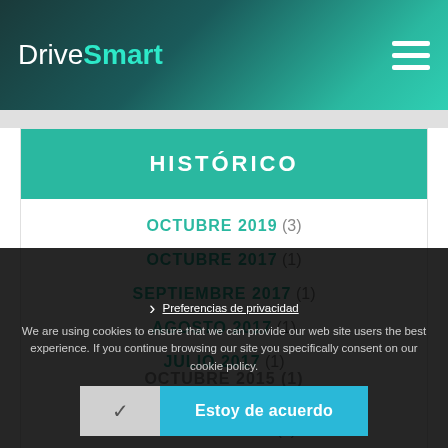DriveSmart
HISTÓRICO
OCTUBRE 2019 (3)
OCTUBRE 2017 (1)
SEPTIEMBRE 2017 (1)
AGOSTO 2017 (1)
JULIO 2017 (1)
JUNIO 2017 (1)
AGOSTO 2016 (1)
NOVIEMBRE 2015 (2)
OCTUBRE 2015 (1)
We are using cookies to ensure that we can provide our web site users the best experience. If you continue browsing our site you specifically consent on our cookie policy.
Preferencias de privacidad
Estoy de acuerdo